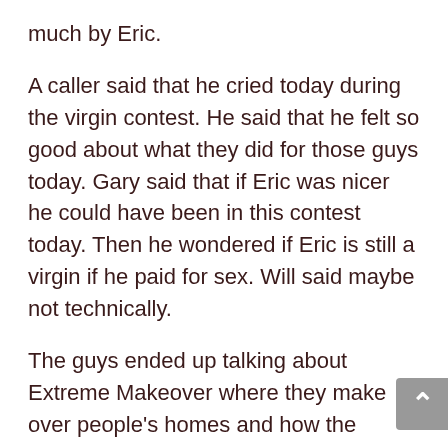much by Eric.
A caller said that he cried today during the virgin contest. He said that he felt so good about what they did for those guys today. Gary said that if Eric was nicer he could have been in this contest today. Then he wondered if Eric is still a virgin if he paid for sex. Will said maybe not technically.
The guys ended up talking about Extreme Makeover where they make over people's homes and how the people end up losing even more because they can't keep up with taxes and stuff. Gary said he's read a few stories about that where people have gone into even more debt after being helped with the new home.